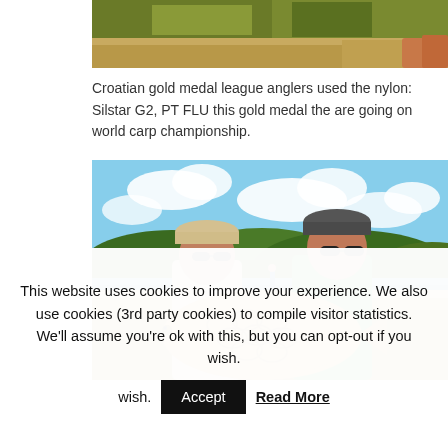[Figure (photo): Top portion of a photo showing grassy/dry ground and feet visible at the right edge]
Croatian gold medal league anglers used the nylon: Silstar G2, PT FLU this gold medal the are going on world carp championship.
[Figure (photo): Two men wearing caps and sunglasses holding a large carp fish, standing by a lake with green hills in the background under a partly cloudy sky]
This website uses cookies to improve your experience. We also use cookies (3rd party cookies) to compile visitor statistics. We'll assume you're ok with this, but you can opt-out if you wish.